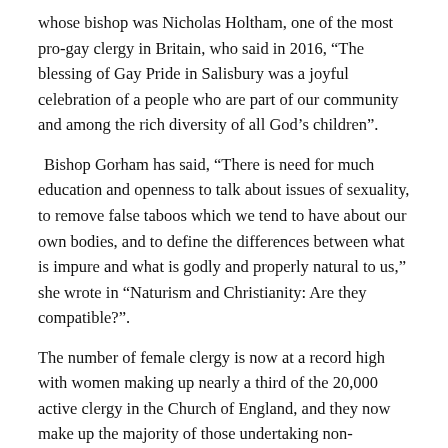whose bishop was Nicholas Holtham, one of the most pro-gay clergy in Britain, who said in 2016, “The blessing of Gay Pride in Salisbury was a joyful celebration of a people who are part of our community and among the rich diversity of all God’s children”.
Bishop Gorham has said, “There is need for much education and openness to talk about issues of sexuality, to remove false taboos which we tend to have about our own bodies, and to define the differences between what is impure and what is godly and properly natural to us,” she wrote in “Naturism and Christianity: Are they compatible?”.
The number of female clergy is now at a record high with women making up nearly a third of the 20,000 active clergy in the Church of England, and they now make up the majority of those undertaking non-stipendiary ministry.